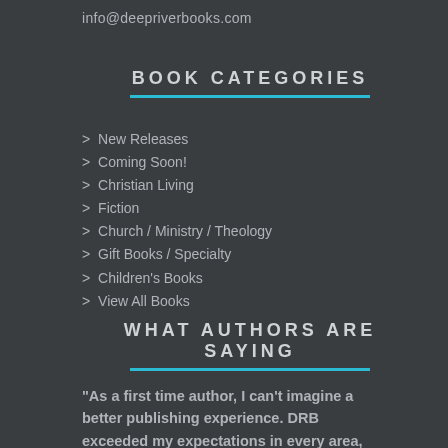info@deepriverbooks.com
BOOK CATEGORIES
> New Releases
> Coming Soon!
> Christian Living
> Fiction
> Church / Ministry / Theology
> Gift Books / Specialty
> Children's Books
> View All Books
WHAT AUTHORS ARE SAYING
"As a first time author, I can't imagine a better publishing experience. DRB exceeded my expectations in every area,